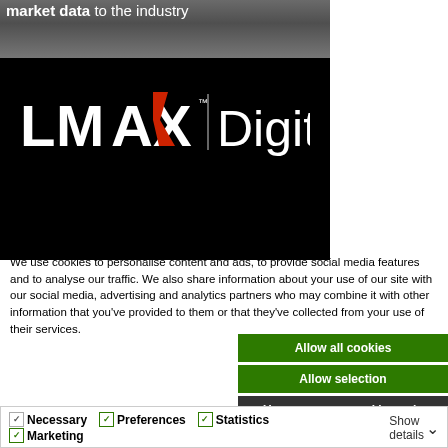[Figure (logo): LMAX Digital logo on black background with coins strip at top. White bold text 'market data to the industry' at top. LMAX logo with red X accent followed by a vertical divider and 'Digital' in light weight font. Black background below.]
This website uses cookies
We use cookies to personalise content and ads, to provide social media features and to analyse our traffic. We also share information about your use of our site with our social media, advertising and analytics partners who may combine it with other information that you've provided to them or that they've collected from your use of their services.
Allow all cookies
Allow selection
Use necessary cookies only
Necessary   Preferences   Statistics   Marketing   Show details